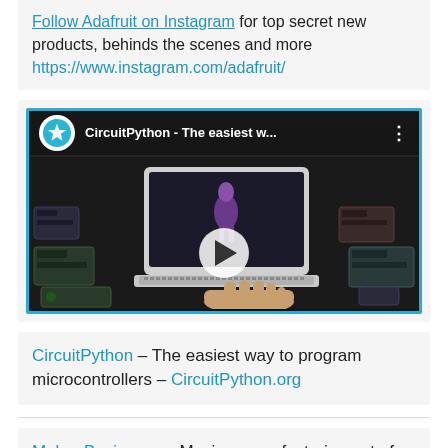Follow Adafruit on Instagram for top secret new products, behinds the scenes and more https://www.instagram.com/adafruit/
[Figure (screenshot): YouTube-style video thumbnail for CircuitPython - The easiest w... showing a laptop surrounded by electronics components on a dark background, with a play button overlay and channel icon]
CircuitPython – The easiest way to program microcontrollers – CircuitPython.org
Maker Business — Moving manufacturing out of China